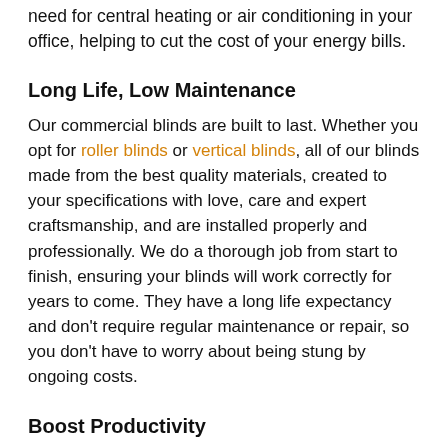need for central heating or air conditioning in your office, helping to cut the cost of your energy bills.
Long Life, Low Maintenance
Our commercial blinds are built to last. Whether you opt for roller blinds or vertical blinds, all of our blinds made from the best quality materials, created to your specifications with love, care and expert craftsmanship, and are installed properly and professionally. We do a thorough job from start to finish, ensuring your blinds will work correctly for years to come. They have a long life expectancy and don’t require regular maintenance or repair, so you don’t have to worry about being stung by ongoing costs.
Boost Productivity
Our commercial blinds can not only help your company